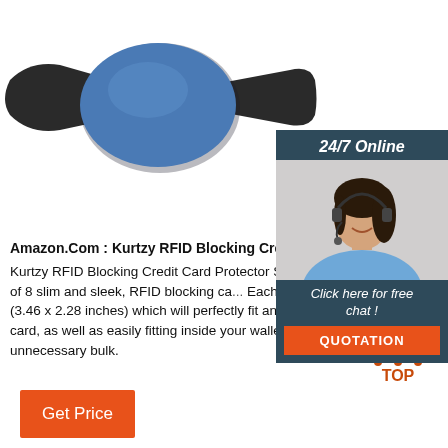[Figure (photo): Close-up photo of a black and blue RFID wristband/bracelet with a large oval blue disc face on a white background]
[Figure (photo): 24/7 Online chat widget with a smiling woman wearing a headset, dark teal background, with 'Click here for free chat!' text and an orange QUOTATION button]
Amazon.Com : Kurtzy RFID Blocking Credit Card P...
Kurtzy RFID Blocking Credit Card Protector Sleeves... set is made up of 8 slim and sleek, RFID blocking ca... Each sleeve is 8.8 x 5.8cm (3.46 x 2.28 inches) which will perfectly fit any standard credit or debit card, as well as easily fitting inside your wallet, purse, or bag without unnecessary bulk.
[Figure (illustration): TOP button with orange dot triangle icon above text TOP in orange]
Get Price